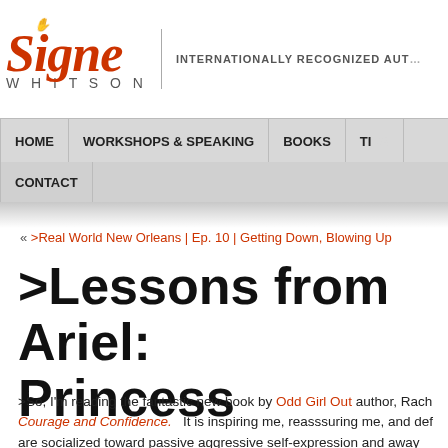[Figure (logo): Signe Whitson logo with stylized script text and hand icon, tagline INTERNATIONALLY RECOGNIZED AUTHOR]
HOME | WORKSHOPS & SPEAKING | BOOKS | TIPS | CONTACT
« >Real World New Orleans | Ep. 10 | Getting Down, Blowing Up
>Lessons from Ariel: Princess
>So, I'm reading the fantastic new book by Odd Girl Out author, Rachel... Courage and Confidence. It is inspiring me, reasssuring me, and def... are socialized toward passive aggressive self-expression and away fr...